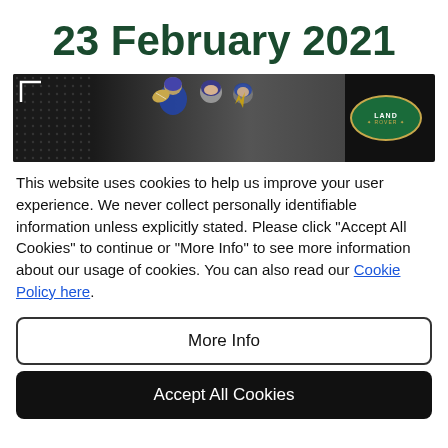23 February 2021
[Figure (photo): Banner image showing young rugby players with a ball, with Land Rover logo on right, dark background with dotted pattern on left.]
This website uses cookies to help us improve your user experience. We never collect personally identifiable information unless explicitly stated. Please click "Accept All Cookies" to continue or "More Info" to see more information about our usage of cookies. You can also read our Cookie Policy here.
More Info
Accept All Cookies